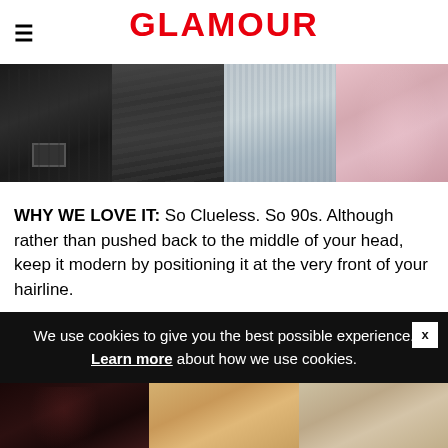GLAMOUR
[Figure (photo): Three fashion street style photos side by side: left shows person in black outfit with belt bag and gloves, center shows braided hair and blue striped outfit, right shows pink floral blazer.]
WHY WE LOVE IT: So Clueless. So 90s. Although rather than pushed back to the middle of your head, keep it modern by positioning it at the very front of your hairline.
4. VELVET
We use cookies to give you the best possible experience. Learn more about how we use cookies.
[Figure (photo): Three photos of women with different hairstyles: left shows woman with dark hair in sunglasses and red lips, center shows blonde woman with earrings, right shows blonde woman looking to side.]